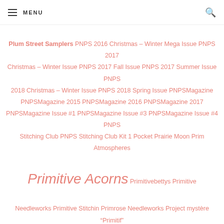MENU
Plum Street Samplers PNPS 2016 Christmas – Winter Mega Issue PNPS 2017 Christmas – Winter Issue PNPS 2017 Fall Issue PNPS 2017 Summer Issue PNPS 2018 Christmas – Winter Issue PNPS 2018 Spring Issue PNPSMagazine PNPSMagazine 2015 PNPSMagazine 2016 PNPSMagazine 2017 PNPSMagazine Issue #1 PNPSMagazine Issue #3 PNPSMagazine Issue #4 PNPS Stitching Club PNPS Stitching Club Kit 1 Pocket Prairie Moon Prim Atmospheres Primitive Acorns Primitivebettys Primitive Needleworks Primitive Stitchin Primrose Needleworks Project mystère "Primitif" Projet mystère "Sample de Médaillons" Pumpkin Seed Stitchers Punch Needle & Primitive Stitcher Magazine Punchneedle Freebie Purse Raise the Roof Designs Reflets de Soie Review Romy's Creations Rosewood Manor SAL 2017 SAL Mary Glover SAL Pincushion Sampler & Antique Needlework Quarterly Sampler Antique Samplers Not Forgotten SamSarah Design Studio Inc. San-Man Originals SANQ Fall 2011 SANQ Spring 2015 SANQ Summer 2011 SANQ Winter 2010 Scattered Seed Samplers Scissor Keep Shawl